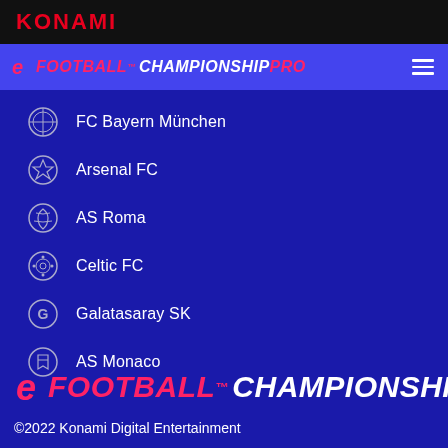KONAMI
eFootball Championship Pro
FC Bayern München
Arsenal FC
AS Roma
Celtic FC
Galatasaray SK
AS Monaco
[Figure (logo): eFootball Championship Pro footer logo in pink and white italic text]
©2022 Konami Digital Entertainment